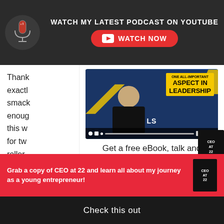WATCH MY LATEST PODCAST ON YOUTUBE
WATCH NOW
[Figure (screenshot): YouTube video thumbnail showing a presenter with text: ONE ALL-IMPORTANT ASPECT IN LEADERSHIP, with LS logo]
Get a free eBook, talk and video lesson in your Inbox!
First Name *
Thank you exactly smack enough this w for tw roller FOCUS lies ar to kno
Grab a copy of CEO at 22 and learn all about my journey as a young entrepreneur!
Check this out